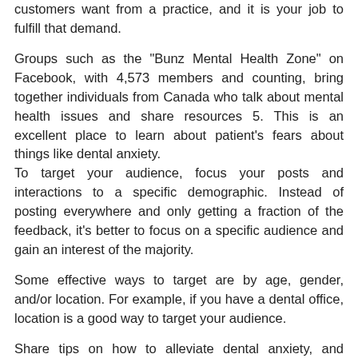customers want from a practice, and it is your job to fulfill that demand.
Groups such as the "Bunz Mental Health Zone" on Facebook, with 4,573 members and counting, bring together individuals from Canada who talk about mental health issues and share resources 5. This is an excellent place to learn about patient's fears about things like dental anxiety.
To target your audience, focus your posts and interactions to a specific demographic. Instead of posting everywhere and only getting a fraction of the feedback, it's better to focus on a specific audience and gain an interest of the majority.
Some effective ways to target are by age, gender, and/or location. For example, if you have a dental office, location is a good way to target your audience.
Share tips on how to alleviate dental anxiety, and connect with individuals on local community pages to start a conversation or respond to people's concerns. It's a good way to get a word out about your practice